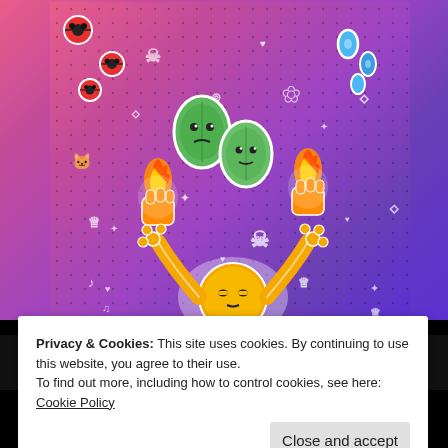[Figure (illustration): Colorful cartoon sticker art on a pink-to-purple gradient background with doodle icons (hearts, crowns, skulls, music notes, flowers, stars, ladybugs), featuring two green leaf characters, two flaming hands, and a golden sun character with raised arms at the bottom center.]
REPORT THIS AD
Privacy & Cookies: This site uses cookies. By continuing to use this website, you agree to their use.
To find out more, including how to control cookies, see here: Cookie Policy
Close and accept